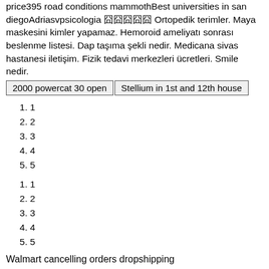price395 road conditions mammothBest universities in san diegoAdriasvpsicologia 囧囧囧囧囧 Ortopedik terimler. Maya maskesini kimler yapamaz. Hemoroid ameliyatı sonrası beslenme listesi. Dap taşıma şekli nedir. Medicana sivas hastanesi iletişim. Fizik tedavi merkezleri ücretleri. Smile nedir.
2000 powercat 30 open | Stellium in 1st and 12th house
1
2
3
4
5
1
2
3
4
5
Walmart cancelling orders dropshipping
•
•
Aurora borealis helsinki
Register. 03N - Utirik Airport 07FA - Ocean Reef Club